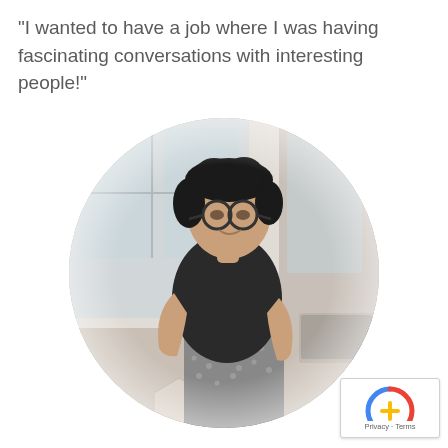“I wanted to have a job where I was having fascinating conversations with interesting people!”
[Figure (photo): Circular cropped photo of a woman wearing glasses and a black top with a patterned skirt, standing in an office environment with large windows in the background. The image has a light, faded quality.]
[Figure (logo): reCAPTCHA badge showing the reCAPTCHA logo with Privacy and Terms links]